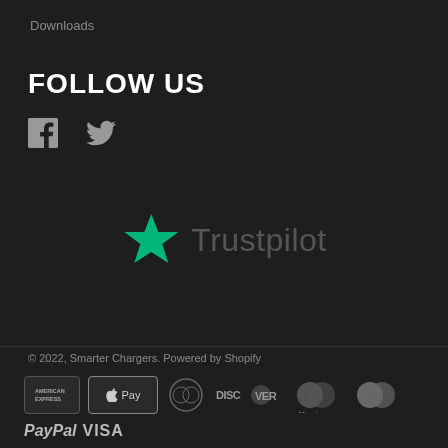Downloads
FOLLOW US
[Figure (illustration): Facebook and Twitter social media icons in grey]
[Figure (logo): Trustpilot logo with green star and grey text]
© 2022, Smarter Chargers. Powered by Shopify
[Figure (illustration): Payment method icons: American Express, Apple Pay, Diners Club, Discover, Maestro, MasterCard, PayPal, Visa]